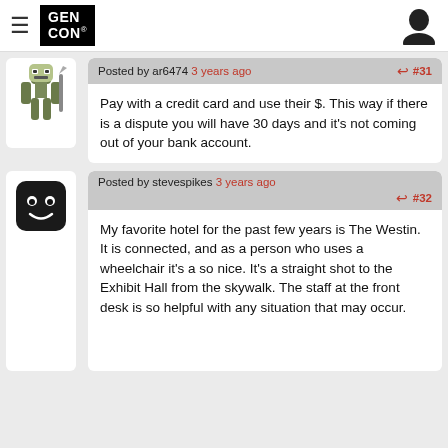[Figure (screenshot): Gen Con website header with hamburger menu icon, Gen Con black logo, and user account icon]
[Figure (screenshot): Forum post #31 by ar6474, posted 3 years ago. Avatar shows a pixel art skeleton warrior. Post text: Pay with a credit card and use their $. This way if there is a dispute you will have 30 days and it's not coming out of your bank account.]
[Figure (screenshot): Forum post #32 by stevespikes, posted 3 years ago. Avatar shows a dark rounded square icon with a face. Post text: My favorite hotel for the past few years is The Westin. It is connected, and as a person who uses a wheelchair it's a so nice. It's a straight shot to the Exhibit Hall from the skywalk. The staff at the front desk is so helpful with any situation that may occur.]